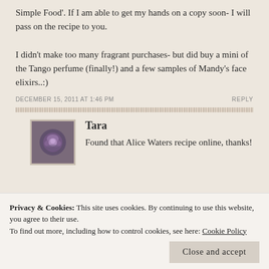Simple Food'. If I am able to get my hands on a copy soon- I will pass on the recipe to you.

I didn't make too many fragrant purchases- but did buy a mini of the Tango perfume (finally!) and a few samples of Mandy's face elixirs..:)
DECEMBER 15, 2011 AT 1:46 PM
REPLY
Tara
Found that Alice Waters recipe online, thanks!
Privacy & Cookies: This site uses cookies. By continuing to use this website, you agree to their use.
To find out more, including how to control cookies, see here: Cookie Policy